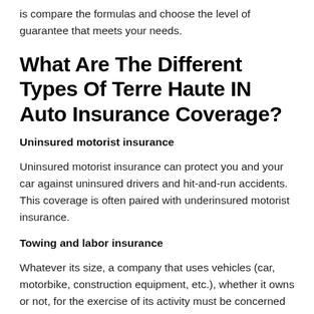is compare the formulas and choose the level of guarantee that meets your needs.
What Are The Different Types Of Terre Haute IN Auto Insurance Coverage?
Uninsured motorist insurance
Uninsured motorist insurance can protect you and your car against uninsured drivers and hit-and-run accidents. This coverage is often paired with underinsured motorist insurance.
Towing and labor insurance
Whatever its size, a company that uses vehicles (car, motorbike, construction equipment, etc.), whether it owns or not, for the exercise of its activity must be concerned with their insurance. Beyond the legal obligation, insurers offer optional guarantees to best be at according to the specific needs of the